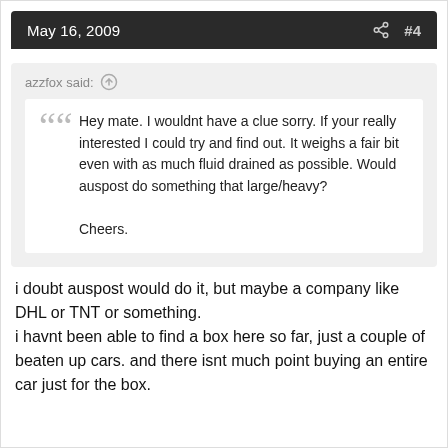May 16, 2009  #4
azzfox said:
Hey mate. I wouldnt have a clue sorry. If your really interested I could try and find out. It weighs a fair bit even with as much fluid drained as possible. Would auspost do something that large/heavy?

Cheers.
i doubt auspost would do it, but maybe a company like DHL or TNT or something.
i havnt been able to find a box here so far, just a couple of beaten up cars. and there isnt much point buying an entire car just for the box.